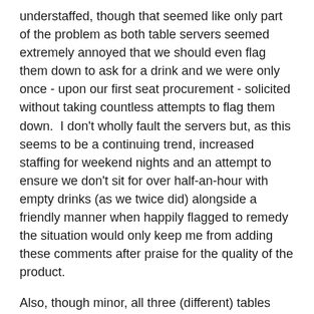understaffed, though that seemed like only part of the problem as both table servers seemed extremely annoyed that we should even flag them down to ask for a drink and we were only once - upon our first seat procurement - solicited without taking countless attempts to flag them down.  I don't wholly fault the servers but, as this seems to be a continuing trend, increased staffing for weekend nights and an attempt to ensure we don't sit for over half-an-hour with empty drinks (as we twice did) alongside a friendly manner when happily flagged to remedy the situation would only keep me from adding these comments after praise for the quality of the product.
Also, though minor, all three (different) tables and two of the (perhaps different?) chairs I sat at during these visits were not even close to level.  Last night's barstool-chair rocked as much as an inch in either direction and it would be a true shame if this caused anyone to spill excellent beer.
I do enjoy the atmosphere and adore the beer (especially those you can only get there and the nitro tap) but a few minor tweaks could turn this from being one of the world's